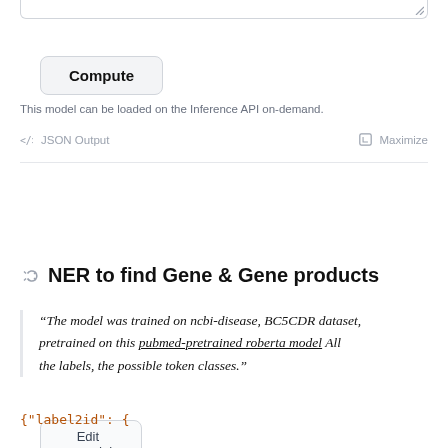[Figure (screenshot): Top border remnant of a textarea input field with resize handle icon]
Compute
This model can be loaded on the Inference API on-demand.
⊘ JSON Output    ⊡ Maximize
✎ Edit model card
NER to find Gene & Gene products
“The model was trained on ncbi-disease, BC5CDR dataset, pretrained on this pubmed-pretrained roberta model All the labels, the possible token classes.”
{"label2id": {